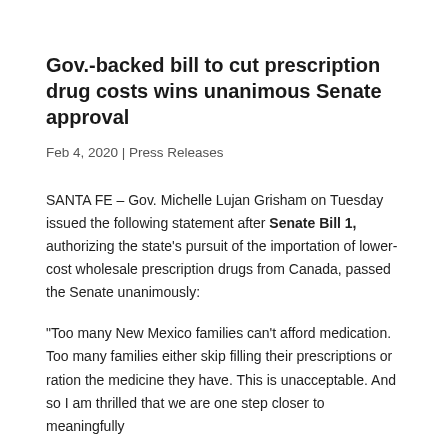Gov.-backed bill to cut prescription drug costs wins unanimous Senate approval
Feb 4, 2020 | Press Releases
SANTA FE – Gov. Michelle Lujan Grisham on Tuesday issued the following statement after Senate Bill 1, authorizing the state's pursuit of the importation of lower-cost wholesale prescription drugs from Canada, passed the Senate unanimously:
“Too many New Mexico families can’t afford medication. Too many families either skip filling their prescriptions or ration the medicine they have. This is unacceptable. And so I am thrilled that we are one step closer to meaningfully